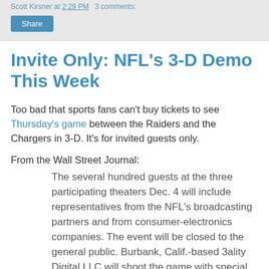Scott Kirsner at 2:29 PM   3 comments:
Share
Invite Only: NFL's 3-D Demo This Week
Too bad that sports fans can't buy tickets to see Thursday's game between the Raiders and the Chargers in 3-D. It's for invited guests only.
From the Wall Street Journal:
The several hundred guests at the three participating theaters Dec. 4 will include representatives from the NFL's broadcasting partners and from consumer-electronics companies. The event will be closed to the general public. Burbank, Calif.-based 3ality Digital LLC will shoot the game with special